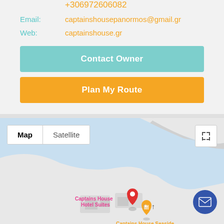+306972606082
Email: captainshousepanormos@gmail.gr
Web: captainshouse.gr
Contact Owner
Plan My Route
[Figure (map): Google Maps view showing location of Captains House Hotel Suites and Captains House Seaside, with map/satellite toggle controls and expand button. Red location pin is visible on the map.]